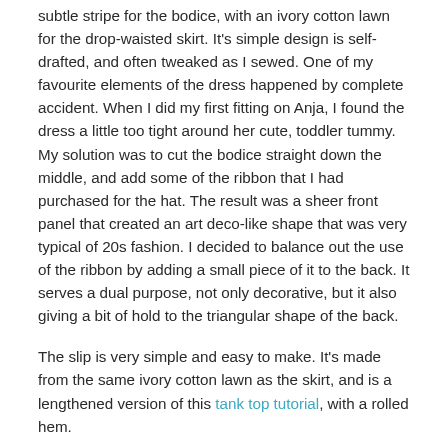subtle stripe for the bodice, with an ivory cotton lawn for the drop-waisted skirt.  It's simple design is self-drafted, and often tweaked as I sewed.  One of my favourite elements of the dress happened by complete accident.  When I did my first fitting on Anja, I found the dress a little too tight around her cute, toddler tummy.  My solution was to cut the bodice straight down the middle, and add some of the ribbon that I had purchased for the hat.  The result was a sheer front panel that created an art deco-like shape that was very typical of 20s fashion.  I decided to balance out the use of the ribbon by adding a small piece of it to the back.  It serves a dual purpose, not only decorative, but it also giving a bit of hold to the triangular shape of the back.
The slip is very simple and easy to make.  It's made from the same ivory cotton lawn as the skirt, and is a lengthened version of this tank top tutorial, with a rolled hem.
This is the pattern I modified for the cloche hat.  I love that it's a restored version of the actual original pattern.  Did I imagine all the mom's who sewed from this same pattern for their little girls decades ago, as I was making mine?  Maybe just a bit! :)  The pattern recommended felt fabric, but I changed that by using chocolate coloured velveteen instead.  It held it's shape quite well, but I chose to also add a felt lining, for even